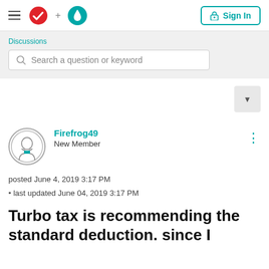[Figure (logo): TurboTax logo with hamburger menu, red checkmark plus teal water drop icon, and Sign In button]
Discussions
Search a question or keyword
Firefrog49
New Member
posted June 4, 2019 3:17 PM
• last updated June 04, 2019 3:17 PM
Turbo tax is recommending the standard deduction. since I